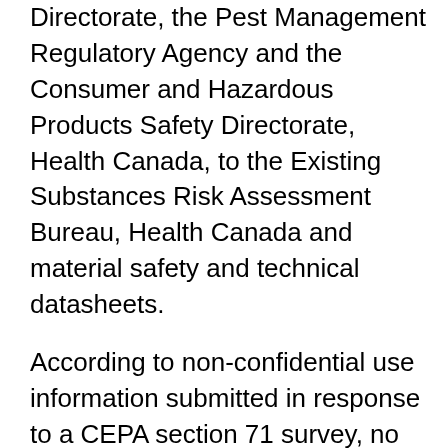Directorate, the Pest Management Regulatory Agency and the Consumer and Hazardous Products Safety Directorate, Health Canada, to the Existing Substances Risk Assessment Bureau, Health Canada and material safety and technical datasheets.
According to non-confidential use information submitted in response to a CEPA section 71 survey, no consumer uses were identified for these 18 CAS RNs: germane, tetrachloride-; lanthanum oxide; lanthanum chloride; lanthanum boride; praseodymium oxide; tellurium oxide; tellurium tetrakis (diethylcarbamodithioato-S,S') -, (DD-8-